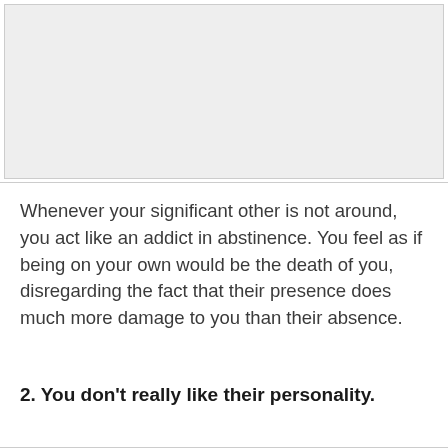[Figure (other): Gray placeholder image box at the top of the page]
Whenever your significant other is not around, you act like an addict in abstinence. You feel as if being on your own would be the death of you, disregarding the fact that their presence does much more damage to you than their absence.
2. You don’t really like their personality.